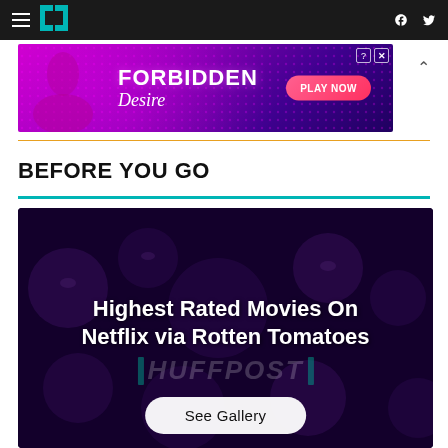HuffPost navigation bar with hamburger menu, logo, Facebook and Twitter icons
[Figure (screenshot): Advertisement banner for 'FORBIDDEN Desire' game with Play Now button, pink/purple gradient background with female silhouette figure]
BEFORE YOU GO
[Figure (photo): Gallery card showing 'Highest Rated Movies On Netflix via Rotten Tomatoes' with HuffPost watermark and 'See Gallery' button over a dark purple background with face illustrations]